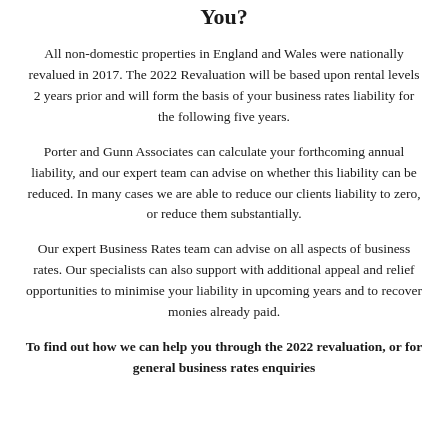You?
All non-domestic properties in England and Wales were nationally revalued in 2017. The 2022 Revaluation will be based upon rental levels 2 years prior and will form the basis of your business rates liability for the following five years.
Porter and Gunn Associates can calculate your forthcoming annual liability, and our expert team can advise on whether this liability can be reduced. In many cases we are able to reduce our clients liability to zero, or reduce them substantially.
Our expert Business Rates team can advise on all aspects of business rates. Our specialists can also support with additional appeal and relief opportunities to minimise your liability in upcoming years and to recover monies already paid.
To find out how we can help you through the 2022 revaluation, or for general business rates enquiries